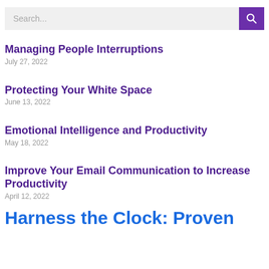[Figure (screenshot): Search bar with text input field and purple search button with magnifying glass icon]
Managing People Interruptions
July 27, 2022
Protecting Your White Space
June 13, 2022
Emotional Intelligence and Productivity
May 18, 2022
Improve Your Email Communication to Increase Productivity
April 12, 2022
Harness the Clock: Proven